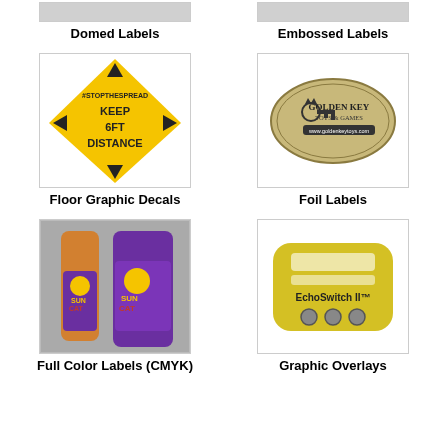[Figure (photo): Partial view of Domed Labels product image (top cropped)]
Domed Labels
[Figure (photo): Partial view of Embossed Labels product image (top cropped)]
Embossed Labels
[Figure (photo): Floor Graphic Decal showing yellow diamond-shaped sign with #STOPTHESPREAD KEEP 6FT DISTANCE]
Floor Graphic Decals
[Figure (photo): Foil Label showing Golden Key Toys & Games oval embossed gold label]
Foil Labels
[Figure (photo): Full Color Labels showing Sun Cat beer bottles with purple and yellow labels]
Full Color Labels (CMYK)
[Figure (photo): Graphic Overlays showing yellow EchoSwitch II device panel]
Graphic Overlays